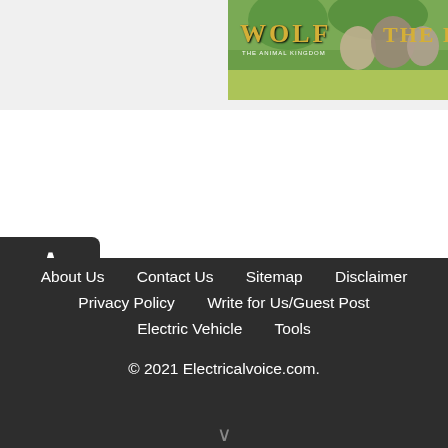[Figure (photo): Wolf game promotional banner showing wolves in a meadow with golden text 'WOLF' and 'THE H' partially visible on the right edge]
About Us   Contact Us   Sitemap   Disclaimer
Privacy Policy   Write for Us/Guest Post
Electric Vehicle   Tools

© 2021 Electricalvoice.com.